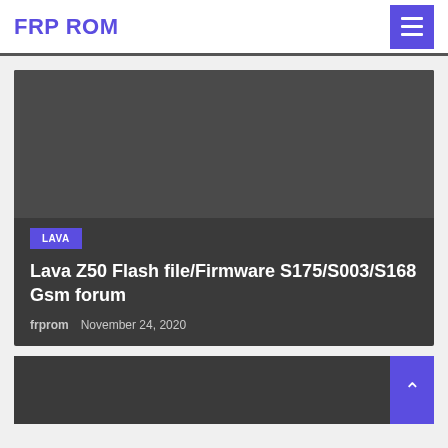FRP ROM
Lava Z50 Flash file/Firmware S175/S003/S168 Gsm forum
frprom   November 24, 2020